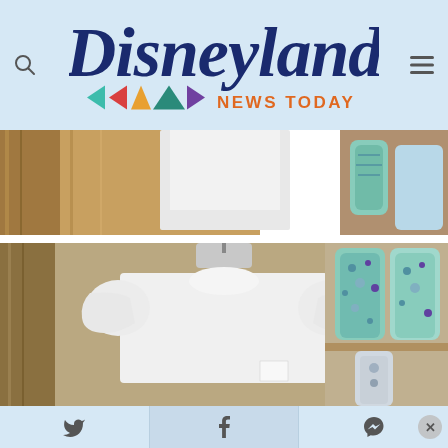[Figure (logo): Disneyland News Today logo on light blue header background with search and menu icons]
[Figure (photo): Top portion of a white ruffled shirt on a mannequin in a store, partially cropped]
[Figure (photo): White ruffled sleeve t-shirt on a mannequin in a Disney store, with teal water bottles on shelves to the right]
[Figure (infographic): Footer social sharing bar with Twitter, Facebook, and Messenger icons on light blue background, with X close button]